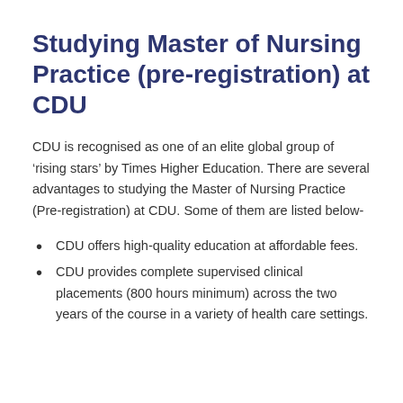Studying Master of Nursing Practice (pre-registration) at CDU
CDU is recognised as one of an elite global group of ‘rising stars’ by Times Higher Education. There are several advantages to studying the Master of Nursing Practice (Pre-registration) at CDU. Some of them are listed below-
CDU offers high-quality education at affordable fees.
CDU provides complete supervised clinical placements (800 hours minimum) across the two years of the course in a variety of health care settings.